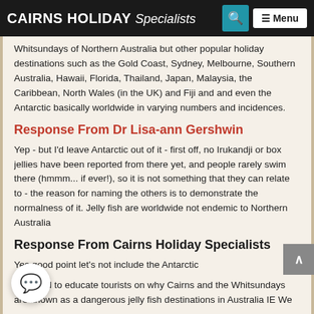CAIRNS HOLIDAY Specialists — Search | Menu
Whitsundays of Northern Australia but other popular holiday destinations such as the Gold Coast, Sydney, Melbourne, Southern Australia, Hawaii, Florida, Thailand, Japan, Malaysia, the Caribbean, North Wales (in the UK) and Fiji and and even the Antarctic basically worldwide in varying numbers and incidences.
Response From Dr Lisa-ann Gershwin
Yep - but I'd leave Antarctic out of it - first off, no Irukandji or box jellies have been reported from there yet, and people rarely swim there (hmmm... if ever!), so it is not something that they can relate to - the reason for naming the others is to demonstrate the normalness of it. Jelly fish are worldwide not endemic to Northern Australia
Response From Cairns Holiday Specialists
Yes good point let's not include the Antarctic
We need to educate tourists on why Cairns and the Whitsundays are known as a dangerous jelly fish destinations in Australia IE We have the oldest records dating back to 1946 so people automatically assume we're the only region that has them
Response From Dr Lisa-ann Gershwin
Yes basically this is also the basis for future research and scientific...